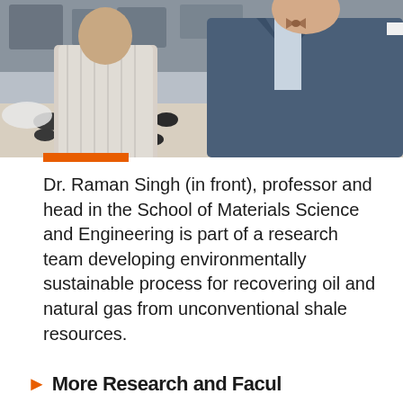[Figure (photo): Two men standing over a table covered with dark rock/shale core samples in a laboratory setting. One man wears a white striped shirt, the other wears a blue plaid suit jacket with a pocket square.]
Dr. Raman Singh (in front), professor and head in the School of Materials Science and Engineering is part of a research team developing environmentally sustainable process for recovering oil and natural gas from unconventional shale resources.
More Research and Facul...